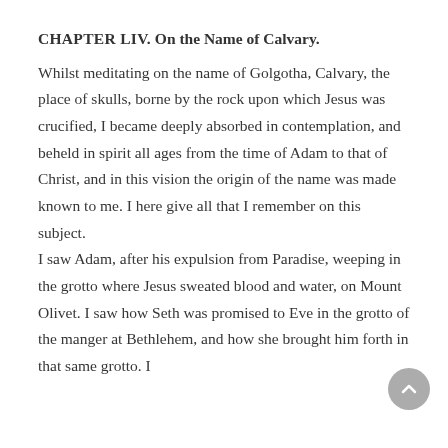CHAPTER LIV.
On the Name of Calvary.
Whilst meditating on the name of Golgotha, Calvary, the place of skulls, borne by the rock upon which Jesus was crucified, I became deeply absorbed in contemplation, and beheld in spirit all ages from the time of Adam to that of Christ, and in this vision the origin of the name was made known to me. I here give all that I remember on this subject. I saw Adam, after his expulsion from Paradise, weeping in the grotto where Jesus sweated blood and water, on Mount Olivet. I saw how Seth was promised to Eve in the grotto of the manger at Bethlehem, and how she brought him forth in that same grotto. I